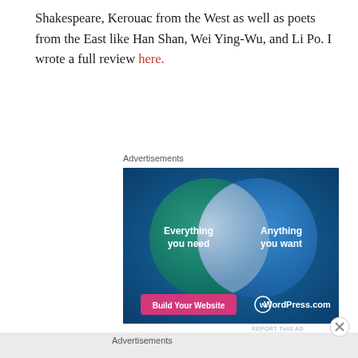Shakespeare, Kerouac from the West as well as poets from the East like Han Shan, Wei Ying-Wu, and Li Po. I wrote a full review here.
Advertisements
[Figure (infographic): WordPress.com advertisement showing a Venn diagram with two overlapping circles on a blue gradient background. Left circle (teal/green) says 'Everything you need', right circle (blue) says 'Anything you want'. Bottom left has a pink button 'Build Your Website' and bottom right shows WordPress.com logo.]
REPORT THIS AD
Advertisements